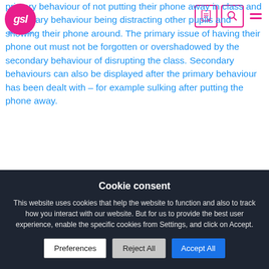[Figure (logo): GSL Education logo - pink circle with 'gsl' text and 'Education' label below]
primary behaviour of not putting their phone away in class and secondary behaviour being distracting other pupils and showing their phone around. The primary issue of having their phone out must not be forgotten or overshadowed by the secondary behaviour of disrupting the class. Secondary behaviours can also be displayed after the primary behaviour has been dealt with – for example sulking after putting the phone away.
Using positive language in your reaction to these behaviours
Cookie consent
This website uses cookies that help the website to function and also to track how you interact with our website. But for us to provide the best user experience, enable the specific cookies from Settings, and click on Accept.